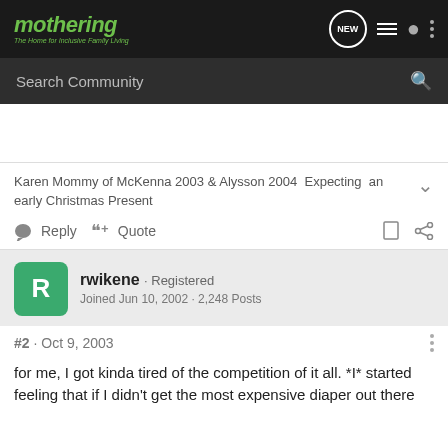mothering · The Home for Inclusive Family Living
Search Community
Karen Mommy of McKenna 2003 & Alysson 2004  Expecting  an early Christmas Present
Reply   Quote
rwikene · Registered
Joined Jun 10, 2002 · 2,248 Posts
#2 · Oct 9, 2003
for me, I got kinda tired of the competition of it all. *I* started feeling that if I didn't get the most expensive diaper out there